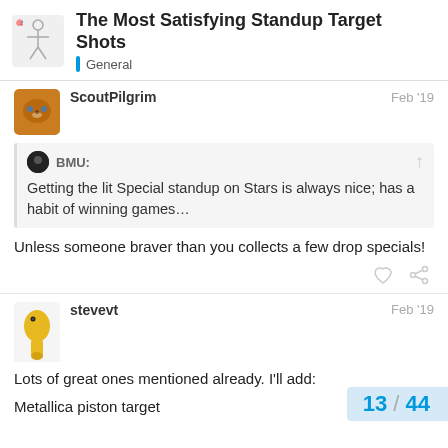The Most Satisfying Standup Target Shots — General
ScoutPilgrim — Feb '19
BMU: Getting the lit Special standup on Stars is always nice; has a habit of winning games…
Unless someone braver than you collects a few drop specials!
stevevt — Feb '19
Lots of great ones mentioned already. I'll add:
Metallica piston target
13 / 44